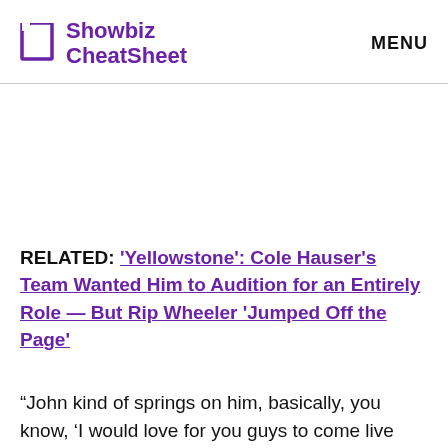Showbiz CheatSheet | MENU
RELATED: 'Yellowstone': Cole Hauser's Team Wanted Him to Audition for an Entirely Role — But Rip Wheeler 'Jumped Off the Page'
“John kind of springs on him, basically, you know, ‘I would love for you guys to come live with me,’” Hauser said on Paramount’s Behind